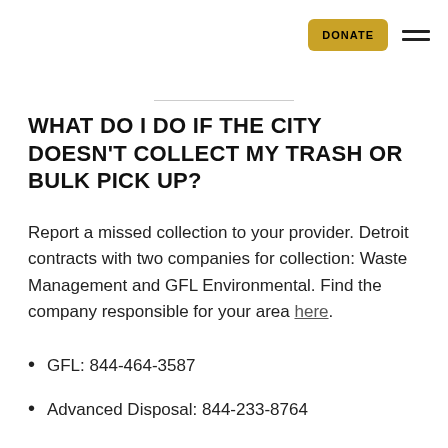DONATE
WHAT DO I DO IF THE CITY DOESN'T COLLECT MY TRASH OR BULK PICK UP?
Report a missed collection to your provider. Detroit contracts with two companies for collection: Waste Management and GFL Environmental. Find the company responsible for your area here.
GFL: 844-464-3587
Advanced Disposal: 844-233-8764